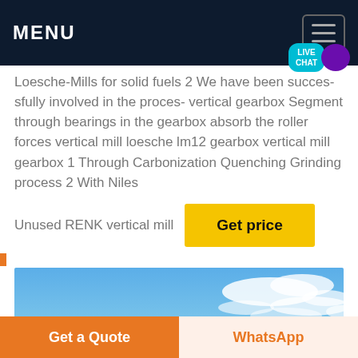MENU
Loesche-Mills for solid fuels 2 We have been successfully involved in the proces- vertical gearbox Segment through bearings in the gearbox absorb the roller forces vertical mill loesche lm12 gearbox vertical mill gearbox 1 Through Carbonization Quenching Grinding process 2 With Niles
Unused RENK vertical mill
[Figure (other): Get price yellow button]
[Figure (photo): Blue sky with white clouds photograph]
Get a Quote
WhatsApp